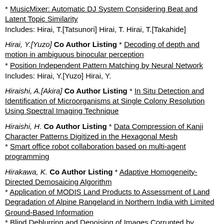* MusicMixer: Automatic DJ System Considering Beat and Latent Topic Similarity
Includes: Hirai, T.[Tatsunori] Hirai, T. Hirai, T.[Takahide]
Hirai, Y.[Yuzo] Co Author Listing * Decoding of depth and motion in ambiguous binocular perception
* Position Independent Pattern Matching by Neural Network
Includes: Hirai, Y.[Yuzo] Hirai, Y.
Hiraishi, A.[Akira] Co Author Listing * In Situ Detection and Identification of Microorganisms at Single Colony Resolution Using Spectral Imaging Technique
Hiraishi, H. Co Author Listing * Data Compression of Kanji Character Patterns Digitized in the Hexagonal Mesh
* Smart office robot collaboration based on multi-agent programming
Hirakawa, K. Co Author Listing * Adaptive Homogeneity-Directed Demosaicing Algorithm
* Application of MODIS Land Products to Assessment of Land Degradation of Alpine Rangeland in Northern India with Limited Ground-Based Information
* Blind Deblurring and Denoising of Images Corrupted by Unidirectional Object Motion Blur and Sensor Noise
* Blind fully autonomous quality assessment for imaging sensors